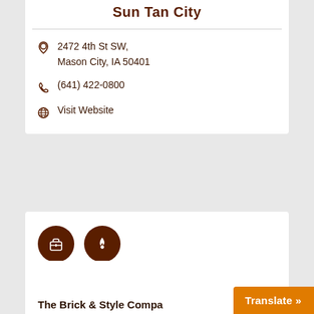Sun Tan City
2472 4th St SW, Mason City, IA 50401
(641) 422-0800
Visit Website
[Figure (illustration): Two dark brown circular icon buttons: a briefcase icon and a flame/fire icon]
The Brick & Style Compa...
Translate »